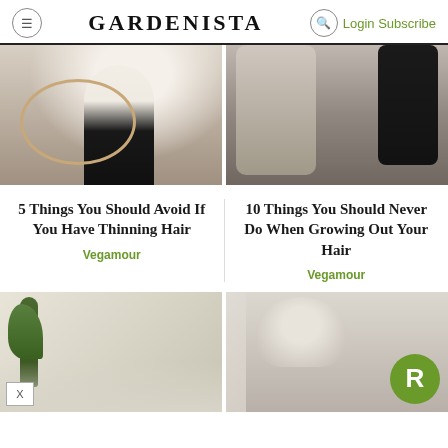GARDENISTA — Login Subscribe
[Figure (photo): Person in white shirt holding a hula hoop, seated, cropped at mid-torso]
[Figure (photo): Two people seen from behind, one in floral dress and one in gray, standing together]
5 Things You Should Avoid If You Have Thinning Hair
Vegamour
10 Things You Should Never Do When Growing Out Your Hair
Vegamour
[Figure (photo): Interior room with plant and bookshelf, partial view]
[Figure (photo): Older woman with silver hair smiling, with green R badge overlay]